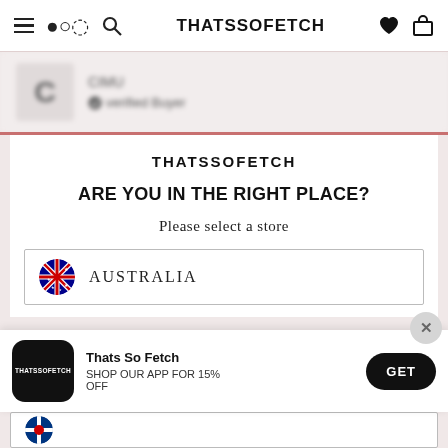THATSSOFETCH
[Figure (screenshot): Blurred review card showing avatar with letter C and 'verified buyer' badge]
THATSSOFETCH
ARE YOU IN THE RIGHT PLACE?
Please select a store
AUSTRALIA
Thats So Fetch
SHOP OUR APP FOR 15% OFF
GET